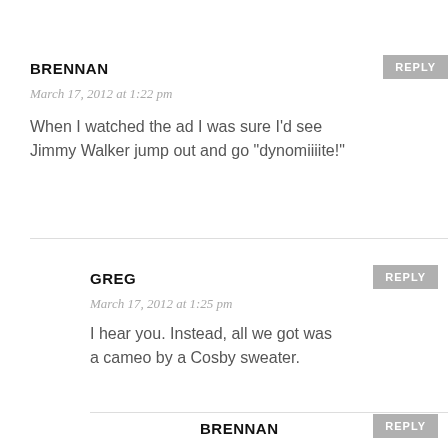BRENNAN
March 17, 2012 at 1:22 pm
When I watched the ad I was sure I'd see Jimmy Walker jump out and go “dynomiiiite!”
GREG
March 17, 2012 at 1:25 pm
I hear you. Instead, all we got was a cameo by a Cosby sweater.
BRENNAN